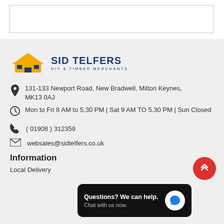[Figure (logo): Sid Telfers DIY & Timber Merchants logo with house icon in yellow and blue]
131-133 Newport Road, New Bradwell, Milton Keynes, MK13 0AJ
Mon to Fri 8 AM to 5.30 PM | Sat 9 AM TO 5.30 PM | Sun Closed
( 01908 ) 312359
websales@sidtelfers.co.uk
Information
Local Delivery
[Figure (screenshot): Chat popup: Questions? We can help. Chat with us now. with blue chat icon]